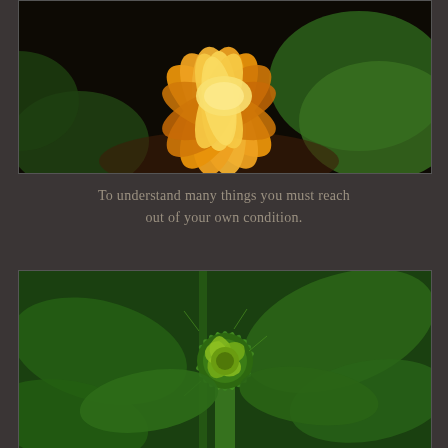[Figure (photo): Close-up photograph of an orange and yellow lotus/water lily flower in full bloom against a dark background with green leaves]
To understand many things you must reach out of your own condition.
[Figure (photo): Close-up photograph of a green sunflower bud before blooming, showing the spiky green petals and center, surrounded by green leaves]